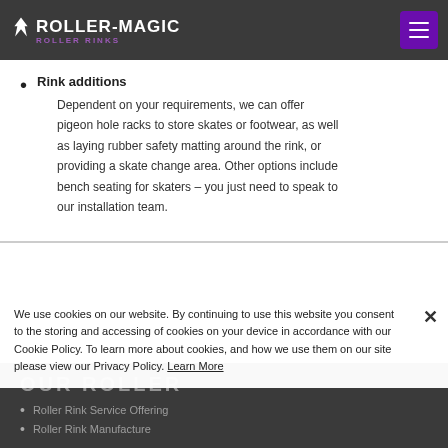Roller-Magic Roller Rinks
Rink additions
Dependent on your requirements, we can offer pigeon hole racks to store skates or footwear, as well as laying rubber safety matting around the rink, or providing a skate change area. Other options include bench seating for skaters – you just need to speak to our installation team.
We use cookies on our website. By continuing to use this website you consent to the storing and accessing of cookies on your device in accordance with our Cookie Policy. To learn more about cookies, and how we use them on our site please view our Privacy Policy. Learn More
Roller Rink Service Offering
Roller Rink Manufacture